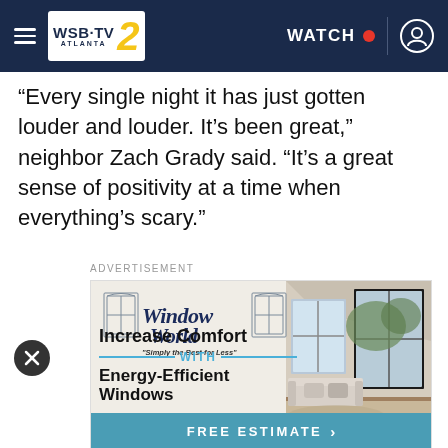WSB-TV 2 Atlanta — WATCH
“Every single night it has just gotten louder and louder. It’s been great,” neighbor Zach Grady said. “It’s a great sense of positivity at a time when everything’s scary.”
ADVERTISEMENT
[Figure (illustration): Window World advertisement: logo with window graphics and tagline 'Simply the Best for Less', headline 'Increase Comfort WITH Energy-Efficient Windows', photo of room interior with windows, FREE ESTIMATE button]